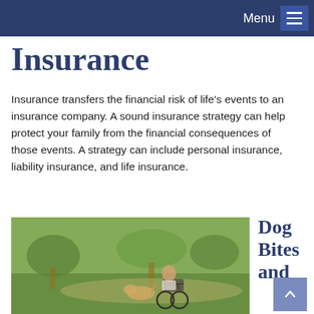Menu
Insurance
Insurance transfers the financial risk of life's events to an insurance company. A sound insurance strategy can help protect your family from the financial consequences of those events. A strategy can include personal insurance, liability insurance, and life insurance.
[Figure (photo): A person in a wheelchair with a dog in an outdoor park setting, with the label 'Featured Video' overlaid in a dark blue banner.]
Dog Bites and